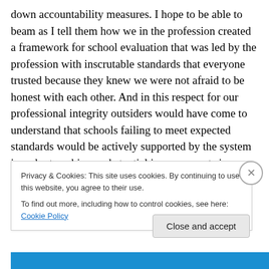down accountability measures. I hope to be able to beam as I tell them how we in the profession created a framework for school evaluation that was led by the profession with inscrutable standards that everyone trusted because they knew we were not afraid to be honest with each other. And in this respect for our professional integrity outsiders would have come to understand that schools failing to meet expected standards would be actively supported by the system in order to achieve substantial improvements in very short timescales.
Privacy & Cookies: This site uses cookies. By continuing to use this website, you agree to their use.
To find out more, including how to control cookies, see here: Cookie Policy